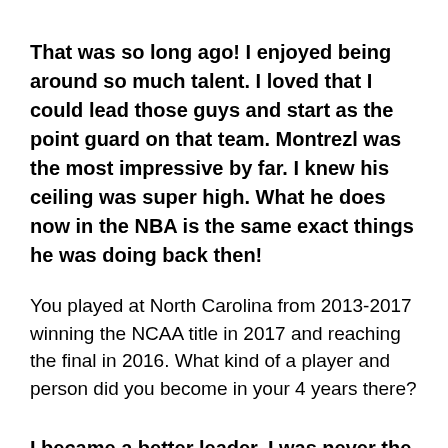That was so long ago! I enjoyed being around so much talent. I loved that I could lead those guys and start as the point guard on that team. Montrezl was the most impressive by far. I knew his ceiling was super high. What he does now in the NBA is the same exact things he was doing back then!
You played at North Carolina from 2013-2017 winning the NCAA title in 2017 and reaching the final in 2016. What kind of a player and person did you become in your 4 years there?
I became a better leader. I was never the official captain on the team but Coach Williams always knew